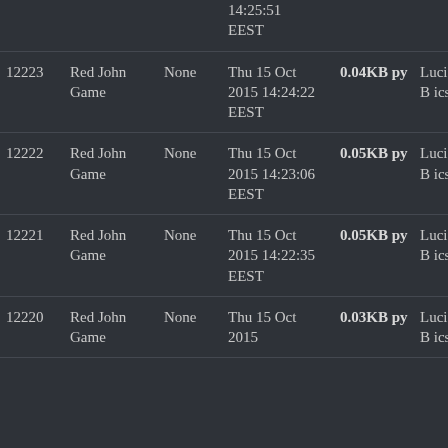| ID | Name | Category | Date | Size/Type | User | Status |
| --- | --- | --- | --- | --- | --- | --- |
|  |  |  | 14:25:51 EEST |  |  |  |
| 12223 | Red John Game | None | Thu 15 Oct 2015 14:24:22 EEST | 0.04KB py | Lucian Bicsi | Wrong answe |
| 12222 | Red John Game | None | Thu 15 Oct 2015 14:23:06 EEST | 0.05KB py | Lucian Bicsi | Wrong answe |
| 12221 | Red John Game | None | Thu 15 Oct 2015 14:22:35 EEST | 0.05KB py | Lucian Bicsi | Non-zero exit status |
| 12220 | Red John Game | None | Thu 15 Oct 2015 | 0.03KB py | Lucian Bicsi | Wrong answe |